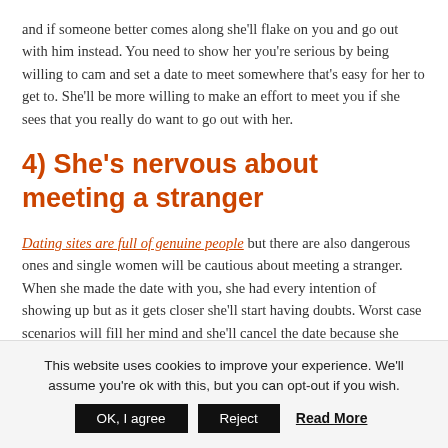and if someone better comes along she'll flake on you and go out with him instead. You need to show her you're serious by being willing to cam and set a date to meet somewhere that's easy for her to get to. She'll be more willing to make an effort to meet you if she sees that you really do want to go out with her.
4) She's nervous about meeting a stranger
Dating sites are full of genuine people but there are also dangerous ones and single women will be cautious about meeting a stranger. When she made the date with you, she had every intention of showing up but as it gets closer she'll start having doubts. Worst case scenarios will fill her mind and she'll cancel the date because she doesn't want to take the risk of meeting you. This is why you need to
This website uses cookies to improve your experience. We'll assume you're ok with this, but you can opt-out if you wish.